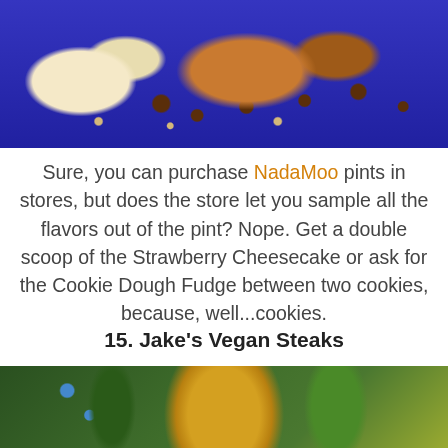[Figure (photo): Ice cream cookie sandwich with white cream and nuts on the left, peanut butter ice cream with chocolate chips on the right, on a blue background with chocolate chips scattered around]
Sure, you can purchase NadaMoo pints in stores, but does the store let you sample all the flavors out of the pint? Nope. Get a double scoop of the Strawberry Cheesecake or ask for the Cookie Dough Fudge between two cookies, because, well...cookies.
15. Jake's Vegan Steaks
[Figure (photo): Outdoor scene with green leafy plants and a yellow cylindrical object, with blue berries visible and a building in the background]